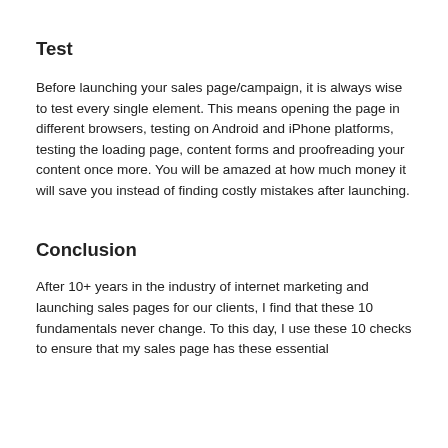Test
Before launching your sales page/campaign, it is always wise to test every single element. This means opening the page in different browsers, testing on Android and iPhone platforms, testing the loading page, content forms and proofreading your content once more. You will be amazed at how much money it will save you instead of finding costly mistakes after launching.
Conclusion
After 10+ years in the industry of internet marketing and launching sales pages for our clients, I find that these 10 fundamentals never change. To this day, I use these 10 checks to ensure that my sales page has these essential